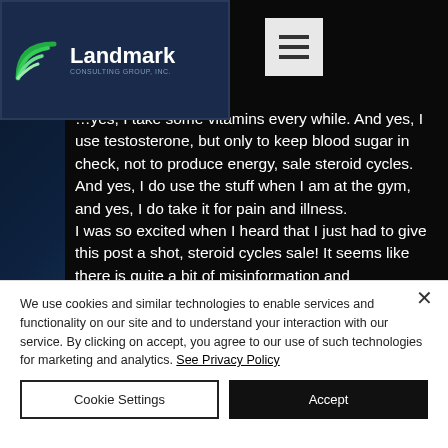[Figure (logo): Landmark Consulting Group Inc. logo with green layered arc icon and white text on dark blue background]
yes, I take some vitamins every while. And yes, I use testosterone, but only to keep blood sugar in check, not to produce energy, sale steroid cycles. And yes, I do use the stuff when I am at the gym, and yes, I do take it for pain and illness.
I was so excited when I heard that I just had to give this post a shot, steroid cycles sale! It seems like there is quite a bit of misinformation and misconception out there about steroids. This is the blog I was always
We use cookies and similar technologies to enable services and functionality on our site and to understand your interaction with our service. By clicking on accept, you agree to our use of such technologies for marketing and analytics. See Privacy Policy